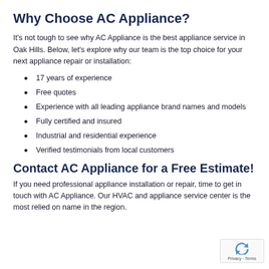Why Choose AC Appliance?
It's not tough to see why AC Appliance is the best appliance service in Oak Hills. Below, let's explore why our team is the top choice for your next appliance repair or installation:
17 years of experience
Free quotes
Experience with all leading appliance brand names and models
Fully certified and insured
Industrial and residential experience
Verified testimonials from local customers
Contact AC Appliance for a Free Estimate!
If you need professional appliance installation or repair, time to get in touch with AC Appliance. Our HVAC and appliance service center is the most relied on name in the region.